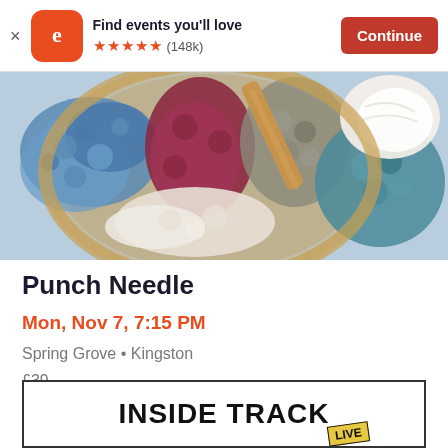[Figure (screenshot): Eventbrite app banner with logo, 'Find events you'll love', 5 stars (148k reviews), and Continue button]
[Figure (photo): Close-up photo of a punch needle embroidery hoop with blue, red/maroon, and white yarn textures, wooden needle visible]
Punch Needle
Mon, Nov 7, 7:15 PM
Spring Grove • Kingston
£39
[Figure (screenshot): Bottom banner showing 'INSIDE TRACK' text in bold with 'LIVE' badge overlay]